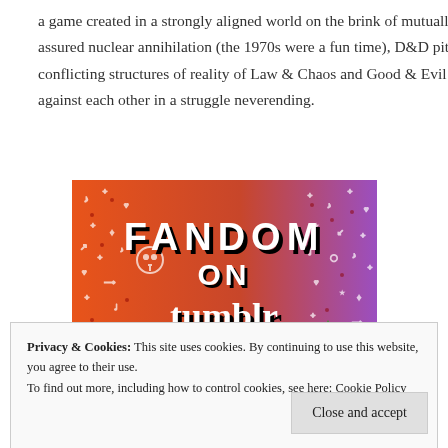a game created in a strongly aligned world on the brink of mutually assured nuclear annihilation (the 1970s were a fun time), D&D pits the conflicting structures of reality of Law & Chaos and Good & Evil against each other in a struggle neverending.
[Figure (illustration): Colorful banner image with orange-to-purple gradient background and white doodle icons, displaying text 'FANDOM ON tumblr' in bold black and white lettering.]
Privacy & Cookies: This site uses cookies. By continuing to use this website, you agree to their use. To find out more, including how to control cookies, see here: Cookie Policy
Close and accept